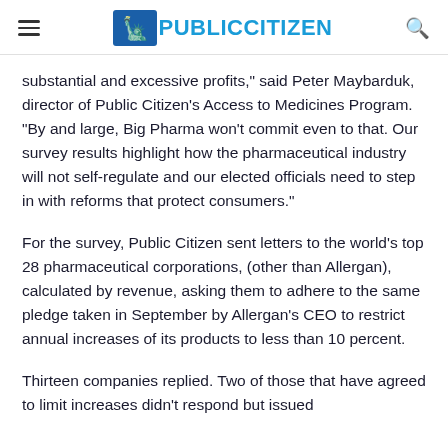Public Citizen
substantial and excessive profits,” said Peter Maybarduk, director of Public Citizen’s Access to Medicines Program. “By and large, Big Pharma won’t commit even to that. Our survey results highlight how the pharmaceutical industry will not self-regulate and our elected officials need to step in with reforms that protect consumers.”
For the survey, Public Citizen sent letters to the world’s top 28 pharmaceutical corporations, (other than Allergan), calculated by revenue, asking them to adhere to the same pledge taken in September by Allergan’s CEO to restrict annual increases of its products to less than 10 percent.
Thirteen companies replied. Two of those that have agreed to limit increases didn’t respond but issued